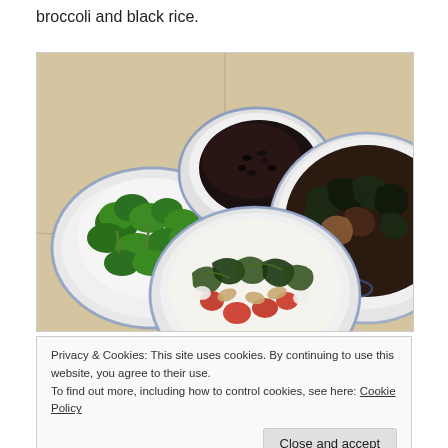broccoli and black rice.
[Figure (photo): Four white bowls with blue trim on a light wooden table. Top left bowl contains steamed broccoli, top center bowl contains black rice, top right large bowl contains dark leafy greens with fish/meat, and a center-bottom bowl contains a fresh salad with tomatoes, almonds, herbs, and greens.]
Privacy & Cookies: This site uses cookies. By continuing to use this website, you agree to their use.
To find out more, including how to control cookies, see here: Cookie Policy
Close and accept